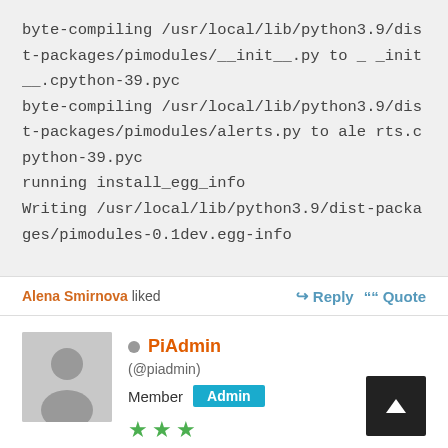byte-compiling /usr/local/lib/python3.9/dist-packages/pimodules/__init__.py to _ _init__.cpython-39.pyc
byte-compiling /usr/local/lib/python3.9/dist-packages/pimodules/alerts.py to ale rts.cpython-39.pyc
running install_egg_info
Writing /usr/local/lib/python3.9/dist-packages/pimodules-0.1dev.egg-info
Alena Smirnova liked
Reply   Quote
PiAdmin (@piadmin) Member Admin Joined: 3 years ago  Posts: 58